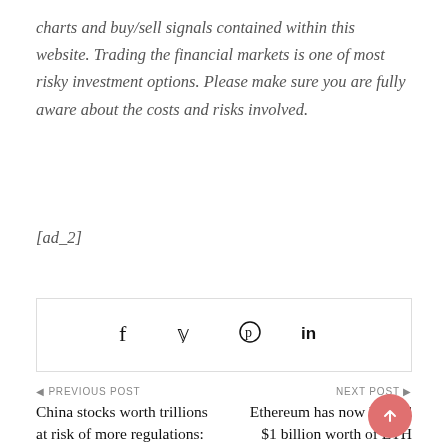charts and buy/sell signals contained within this website. Trading the financial markets is one of most risky investment options. Please make sure you are fully aware about the costs and risks involved.
[ad_2]
[Figure (other): Social sharing bar with Facebook, Twitter, Pinterest, and LinkedIn icons]
PREVIOUS POST — China stocks worth trillions at risk of more regulations: | NEXT POST — Ethereum has now burned $1 billion worth of ETH